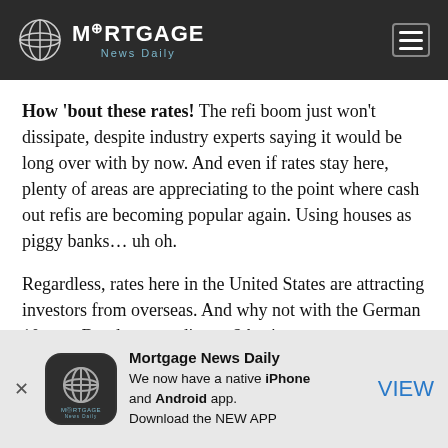Mortgage News Daily
How 'bout these rates! The refi boom just won't dissipate, despite industry experts saying it would be long over with by now. And even if rates stay here, plenty of areas are appreciating to the point where cash out refis are becoming popular again. Using houses as piggy banks… uh oh.
Regardless, rates here in the United States are attracting investors from overseas. And why not with the German 10-year Bund now trading at 2 basis
[Figure (infographic): Mortgage News Daily app promotion banner with globe logo icon, text about native iPhone and Android app, and a VIEW link button]
Mortgage News Daily
We now have a native iPhone and Android app.
Download the NEW APP